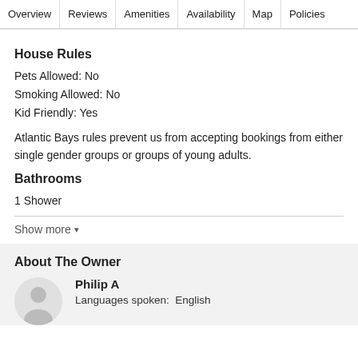Overview | Reviews | Amenities | Availability | Map | Policies
House Rules
Pets Allowed: No
Smoking Allowed: No
Kid Friendly: Yes
Atlantic Bays rules prevent us from accepting bookings from either single gender groups or groups of young adults.
Bathrooms
1 Shower
Show more
About The Owner
Philip A
Languages spoken:  English